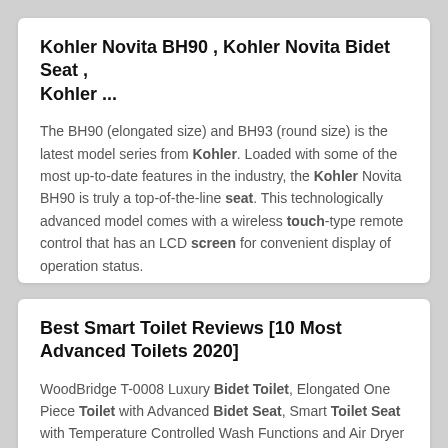Kohler Novita BH90 , Kohler Novita Bidet Seat , Kohler ...
The BH90 (elongated size) and BH93 (round size) is the latest model series from Kohler. Loaded with some of the most up-to-date features in the industry, the Kohler Novita BH90 is truly a top-of-the-line seat. This technologically advanced model comes with a wireless touch-type remote control that has an LCD screen for convenient display of operation status.
Best Smart Toilet Reviews [10 Most Advanced Toilets 2020]
WoodBridge T-0008 Luxury Bidet Toilet, Elongated One Piece Toilet with Advanced Bidet Seat, Smart Toilet Seat with Temperature Controlled Wash Functions and Air Dryer Read Review: 1.0 GPF: Lowest: Check Price: TOTO MW6142044CEFG#01 WASHLET+ Carlyle II One-Piece Elongated 1.28 GPF Toilet and WASHLET C200 Bidet Seat,